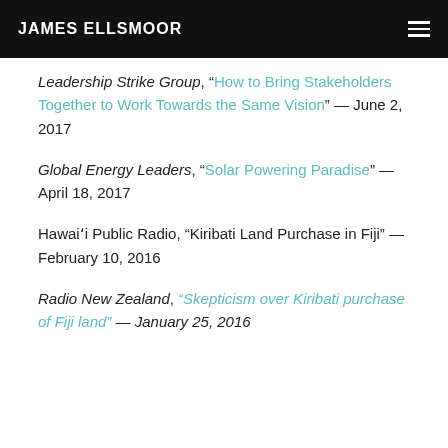JAMES ELLSMOOR
Leadership Strike Group, “How to Bring Stakeholders Together to Work Towards the Same Vision” — June 2, 2017
Global Energy Leaders, “Solar Powering Paradise” — April 18, 2017
Hawaiʻi Public Radio, “Kiribati Land Purchase in Fiji” — February 10, 2016
Radio New Zealand, “Skepticism over Kiribati purchase of Fiji land” — January 25, 2016